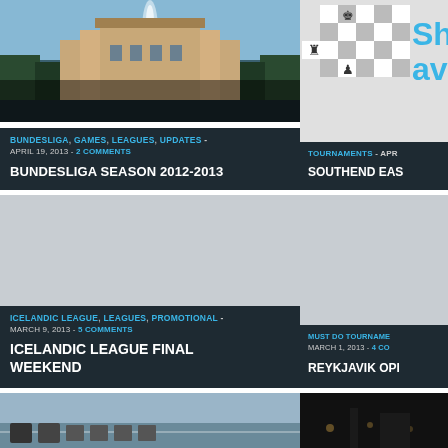[Figure (photo): Outdoor scene with fountain, trees and buildings/palace in background under blue sky]
BUNDESLIGA, GAMES, LEAGUES, UPDATES - APRIL 19, 2013 - 2 COMMENTS
BUNDESLIGA SEASON 2012-2013
[Figure (photo): Chess board position with king and pawn pieces visible]
TOURNAMENTS - APR
SOUTHEND EAS
[Figure (photo): Light grey placeholder image]
ICELANDIC LEAGUE, LEAGUES, PROMOTIONAL - MARCH 9, 2013 - 5 COMMENTS
ICELANDIC LEAGUE FINAL WEEKEND
[Figure (photo): Light grey placeholder image]
MUST DO TOURNAME - MARCH 1, 2013 - 4 CO
REYKJAVIK OPI
[Figure (photo): Outdoor landscape with water and mountains]
[Figure (photo): Dark night scene]